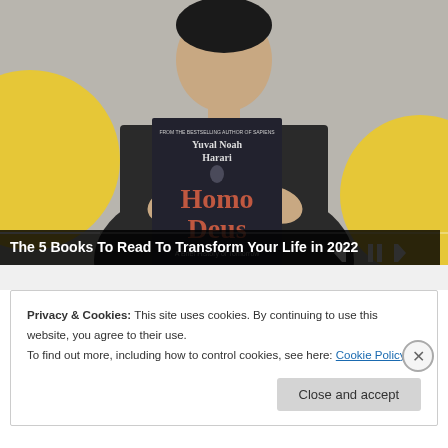[Figure (screenshot): Video thumbnail showing a person holding up a dark book 'Homo Deus' by Yuval Noah Harari, with yellow decorative circles in the background and media playback controls (skip back, pause, skip forward) visible at the bottom right. A progress bar is shown at the bottom.]
The 5 Books To Read To Transform Your Life in 2022
Privacy & Cookies: This site uses cookies. By continuing to use this website, you agree to their use.
To find out more, including how to control cookies, see here: Cookie Policy